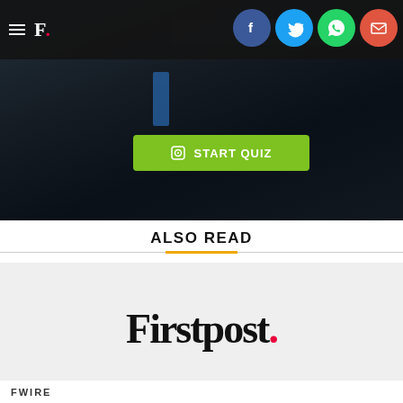[Figure (screenshot): Dark hero image showing a blurred background with a green 'START QUIZ' button overlay, and a Firstpost website header with hamburger menu, F. logo, and social media share icons (Facebook, Twitter, WhatsApp, Email)]
ALSO READ
[Figure (logo): Firstpost logo in large serif black font with a red dot at the end]
FWIRE